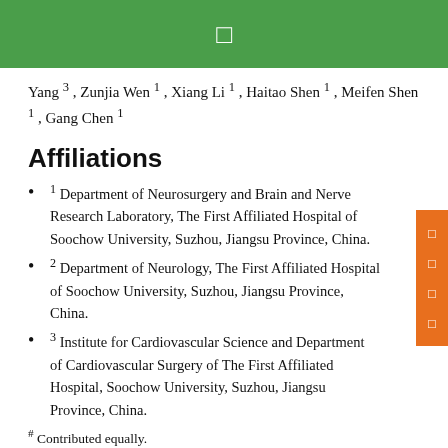□
Yang 3 , Zunjia Wen 1 , Xiang Li 1 , Haitao Shen 1 , Meifen Shen 1 , Gang Chen 1
Affiliations
1 Department of Neurosurgery and Brain and Nerve Research Laboratory, The First Affiliated Hospital of Soochow University, Suzhou, Jiangsu Province, China.
2 Department of Neurology, The First Affiliated Hospital of Soochow University, Suzhou, Jiangsu Province, China.
3 Institute for Cardiovascular Science and Department of Cardiovascular Surgery of The First Affiliated Hospital, Soochow University, Suzhou, Jiangsu Province, China.
# Contributed equally.
Abstract
Notch1 maturation participates in apoptosis and inflammation following